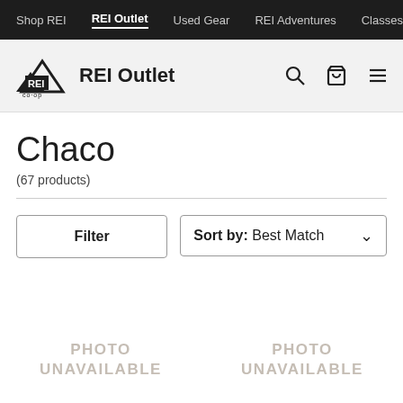Shop REI | REI Outlet | Used Gear | REI Adventures | Classes & E...
REI Outlet
Chaco
(67 products)
Filter
Sort by: Best Match
[Figure (other): PHOTO UNAVAILABLE placeholder (left)]
[Figure (other): PHOTO UNAVAILABLE placeholder (right)]